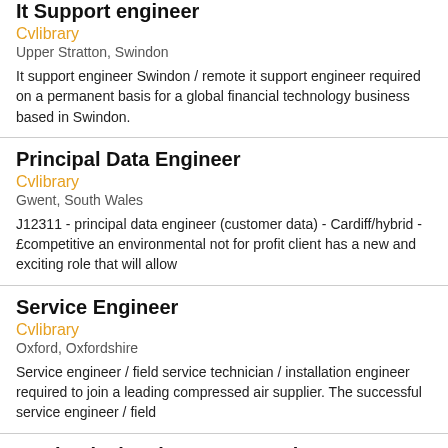It Support engineer
Cvlibrary
Upper Stratton, Swindon
It support engineer Swindon / remote it support engineer required on a permanent basis for a global financial technology business based in Swindon.
Principal Data Engineer
Cvlibrary
Gwent, South Wales
J12311 - principal data engineer (customer data) - Cardiff/hybrid - £competitive an environmental not for profit client has a new and exciting role that will allow
Service Engineer
Cvlibrary
Oxford, Oxfordshire
Service engineer / field service technician / installation engineer required to join a leading compressed air supplier. The successful service engineer / field
Mechanical maintenance engineer
Cvlibrary
Bradford, Bradford
My client is currently looking for an experienced mechanical maintenance engineer for their site in Bradford, West Yorkshire. The role to working